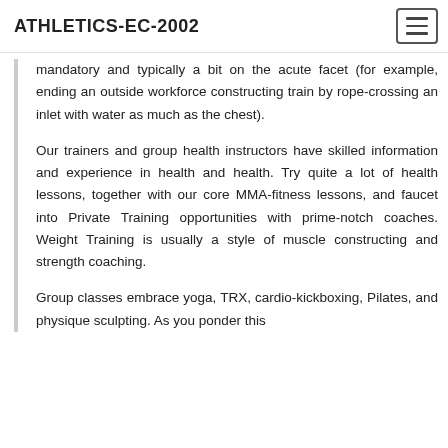ATHLETICS-EC-2002
mandatory and typically a bit on the acute facet (for example, ending an outside workforce constructing train by rope-crossing an inlet with water as much as the chest).
Our trainers and group health instructors have skilled information and experience in health and health. Try quite a lot of health lessons, together with our core MMA-fitness lessons, and faucet into Private Training opportunities with prime-notch coaches. Weight Training is usually a style of muscle constructing and strength coaching.
Group classes embrace yoga, TRX, cardio-kickboxing, Pilates, and physique sculpting. As you ponder this